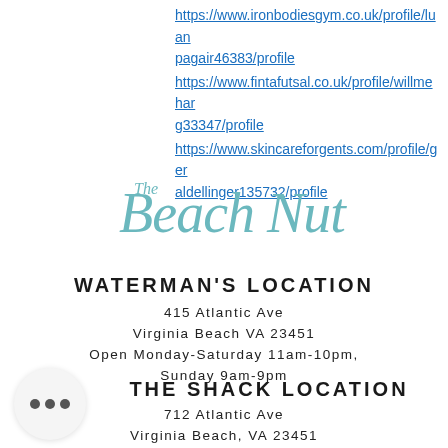https://www.ironbodiesgym.co.uk/profile/luanpagair46383/profile
https://www.fintafutsal.co.uk/profile/willmeharg33347/profile
https://www.skincareforgents.com/profile/geraldellinger135732/profile
[Figure (logo): The Beach Nut cursive teal logo]
WATERMAN'S LOCATION
415 Atlantic Ave
Virginia Beach VA 23451
Open Monday-Saturday 11am-10pm,
Sunday 9am-9pm
THE SHACK LOCATION
712 Atlantic Ave
Virginia Beach, VA 23451